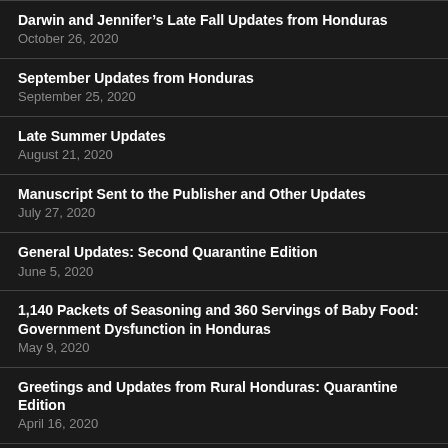Darwin and Jennifer’s Late Fall Updates from Honduras
October 26, 2020
September Updates from Honduras
September 25, 2020
Late Summer Updates
August 21, 2020
Manuscript Sent to the Publisher and Other Updates
July 27, 2020
General Updates: Second Quarantine Edition
June 5, 2020
1,140 Packets of Seasoning and 360 Servings of Baby Food: Government Dysfunction in Honduras
May 9, 2020
Greetings and Updates from Rural Honduras: Quarantine Edition
April 16, 2020
Current Prayer Request: Health for our Family (Typhoid Fever)
March 11, 2020